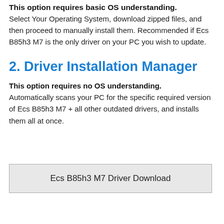This option requires basic OS understanding. Select Your Operating System, download zipped files, and then proceed to manually install them. Recommended if Ecs B85h3 M7 is the only driver on your PC you wish to update.
2. Driver Installation Manager
This option requires no OS understanding. Automatically scans your PC for the specific required version of Ecs B85h3 M7 + all other outdated drivers, and installs them all at once.
Ecs B85h3 M7 Driver Download